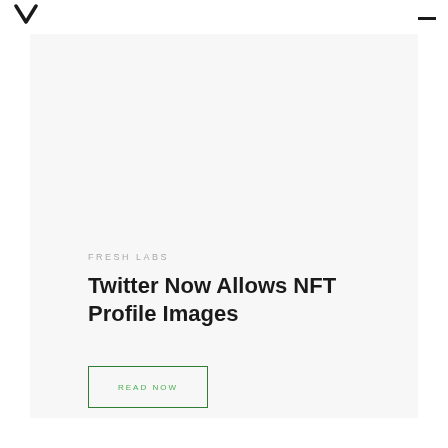FRESH LABS
Twitter Now Allows NFT Profile Images
READ NOW